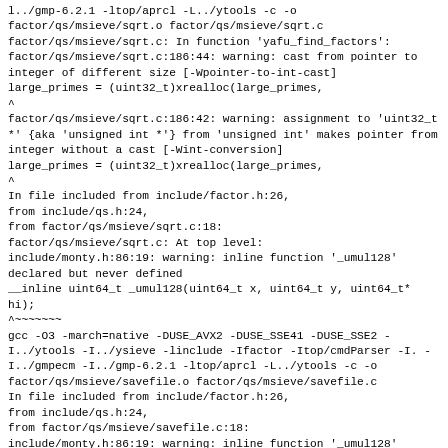l../gmp-6.2.1 -ltop/aprcl -L../ytools -c -o factor/qs/msieve/sqrt.o factor/qs/msieve/sqrt.c
factor/qs/msieve/sqrt.c: In function 'yafu_find_factors':
factor/qs/msieve/sqrt.c:186:44: warning: cast from pointer to integer of different size [-Wpointer-to-int-cast]
large_primes = (uint32_t)xrealloc(large_primes,
^
factor/qs/msieve/sqrt.c:186:42: warning: assignment to 'uint32_t *' {aka 'unsigned int *'} from 'unsigned int' makes pointer from integer without a cast [-Wint-conversion]
large_primes = (uint32_t)xrealloc(large_primes,
^
In file included from include/factor.h:26,
from include/qs.h:24,
from factor/qs/msieve/sqrt.c:18:
factor/qs/msieve/sqrt.c: At top level:
include/monty.h:86:19: warning: inline function '_umul128' declared but never defined
__inline uint64_t _umul128(uint64_t x, uint64_t y, uint64_t* hi);
^~~~~~~~
gcc -O3 -march=native -DUSE_AVX2 -DUSE_SSE41 -DUSE_SSE2 -I../ytools -I../ysieve -linclude -Ifactor -Itop/cmdParser -I. -I../gmpecm -I../gmp-6.2.1 -ltop/aprcl -L../ytools -c -o factor/qs/msieve/savefile.o factor/qs/msieve/savefile.c
In file included from include/factor.h:26,
from include/qs.h:24,
from factor/qs/msieve/savefile.c:18:
include/monty.h:86:19: warning: inline function '_umul128' declared but never defined
__inline uint64_t _umul128(uint64_t x, uint64_t y, uint64_t* hi);
^